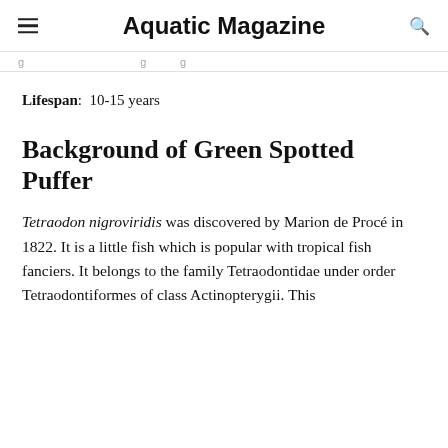Aquatic Magazine
Lifespan:  10-15 years
Background of Green Spotted Puffer
Tetraodon nigroviridis was discovered by Marion de Procé in 1822. It is a little fish which is popular with tropical fish fanciers. It belongs to the family Tetraodontidae under order Tetraodontiformes of class Actinopterygii. This